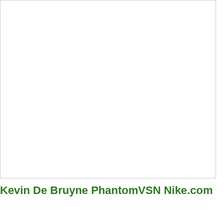[Figure (photo): White/blank image area representing a photo of Kevin De Bruyne PhantomVSN Nike product]
Kevin De Bruyne PhantomVSN  Nike.com